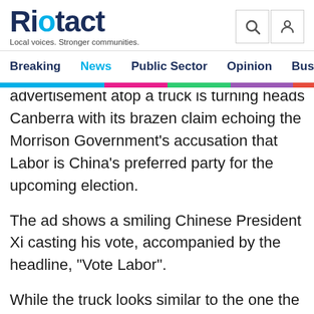Riotact — Local voices. Stronger communities.
Breaking | News | Public Sector | Opinion | Business
advertisement atop a truck is turning heads in Canberra with its brazen claim echoing the Morrison Government's accusation that Labor is China's preferred party for the upcoming election.
The ad shows a smiling Chinese President Xi casting his vote, accompanied by the headline, "Vote Labor".
While the truck looks similar to the one the